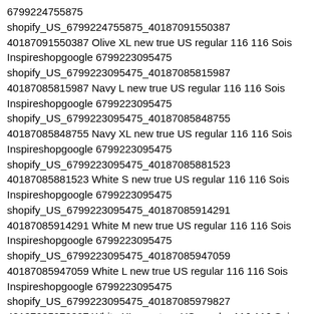6799224755875 shopify_US_6799224755875_40187091550387 40187091550387 Olive XL new true US regular 116 116 Sois Inspireshopgoogle 6799223095475 shopify_US_6799223095475_40187085815987 40187085815987 Navy L new true US regular 116 116 Sois Inspireshopgoogle 6799223095475 shopify_US_6799223095475_40187085848755 40187085848755 Navy XL new true US regular 116 116 Sois Inspireshopgoogle 6799223095475 shopify_US_6799223095475_40187085881523 40187085881523 White S new true US regular 116 116 Sois Inspireshopgoogle 6799223095475 shopify_US_6799223095475_40187085914291 40187085914291 White M new true US regular 116 116 Sois Inspireshopgoogle 6799223095475 shopify_US_6799223095475_40187085947059 40187085947059 White L new true US regular 116 116 Sois Inspireshopgoogle 6799223095475 shopify_US_6799223095475_40187085979827 40187085979827 White XL new true US regular 116 116 Sois Inspireshopgoogle 6799223095475 shopify_US_6799223095475_40187086012595 40187086012595 Orange S new true US regular 116 116 Sois Inspireshopgoogle 6799223095475 shopify_US_6799223095475_40187086045363 40187086045363 Orange M new true US regular 116 116 Sois Inspireshopgoogle 6799223095475 shopify_US_6799223095475_40187086078131 40187086078131 Orange L new true US regular 116 116 Sois Inspireshopgoogle 6799223095475 shopify_US_6799223095475_40187086110899